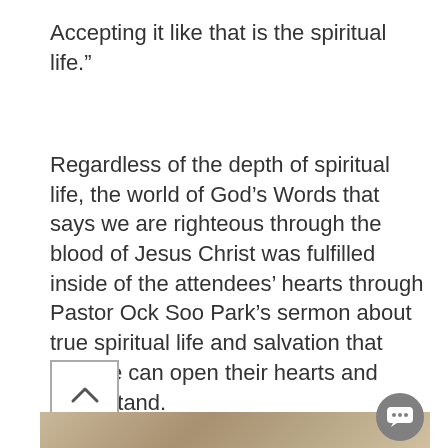Accepting it like that is the spiritual life."
Regardless of the depth of spiritual life, the world of God’s Words that says we are righteous through the blood of Jesus Christ was fulfilled inside of the attendees’ hearts through Pastor Ock Soo Park’s sermon about true spiritual life and salvation that anyone can open their hearts and understand.
[Figure (other): Scroll-to-top button: a square button with an upward-pointing chevron arrow]
[Figure (photo): Partial photo visible at bottom of page, showing a blurred beige/tan background. A circular gray chat bubble icon with three dots is overlaid in the lower right area.]